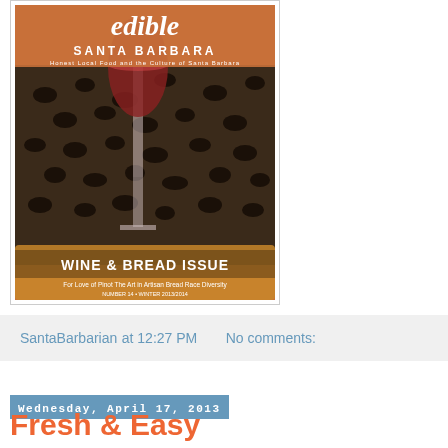[Figure (photo): Magazine cover of Edible Santa Barbara, Wine & Bread Issue, showing a focaccia bread with olives and a glass of red wine being poured over it. Text reads: 'edible SANTA BARBARA', 'WINE & BREAD ISSUE', 'For Love of Pinot  The Art in Artisan Bread  Race Diversity']
SantaBarbarian at 12:27 PM     No comments:
Wednesday, April 17, 2013
Fresh & Easy